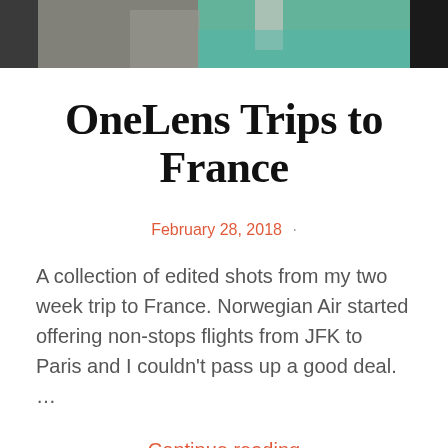[Figure (photo): Top strip showing a waterway scene with stone wall and turquoise/green water, partially cropped]
OneLens Trips to France
February 28, 2018 ·
A collection of edited shots from my two week trip to France. Norwegian Air started offering non-stops flights from JFK to Paris and I couldn't pass up a good deal. …
Continue reading